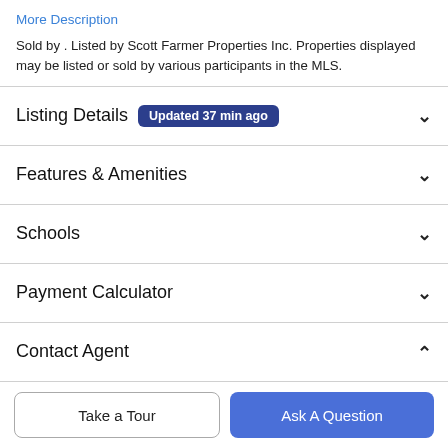More Description
Sold by . Listed by Scott Farmer Properties Inc. Properties displayed may be listed or sold by various participants in the MLS.
Listing Details  Updated 37 min ago
Features & Amenities
Schools
Payment Calculator
Contact Agent
Take a Tour
Ask A Question